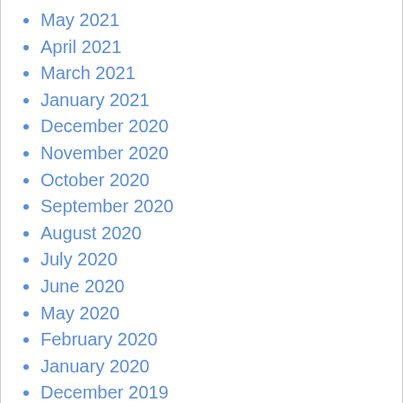May 2021
April 2021
March 2021
January 2021
December 2020
November 2020
October 2020
September 2020
August 2020
July 2020
June 2020
May 2020
February 2020
January 2020
December 2019
September 2019
August 2019
July 2019
May 2019